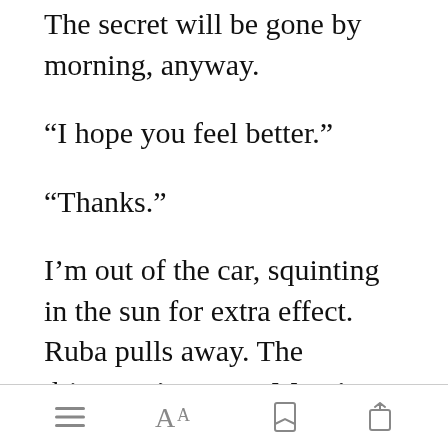The secret will be gone by morning, anyway.
“I hope you feel better.”
“Thanks.”
I’m out of the car, squinting in the sun for extra effect. Ruba pulls away. The driveway’s empty. Mom’s still getting pa[Open in app]s thrown at
[toolbar icons: menu, font size, bookmark, share]